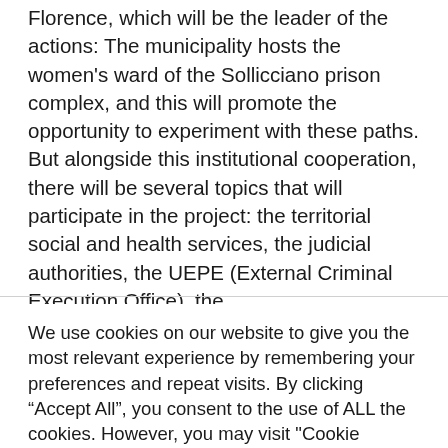Florence, which will be the leader of the actions: The municipality hosts the women's ward of the Sollicciano prison complex, and this will promote the opportunity to experiment with these paths. But alongside this institutional cooperation, there will be several topics that will participate in the project: the territorial social and health services, the judicial authorities, the UEPE (External Criminal Execution Office), the
We use cookies on our website to give you the most relevant experience by remembering your preferences and repeat visits. By clicking “Accept All”, you consent to the use of ALL the cookies. However, you may visit "Cookie Settings" to provide a controlled consent.